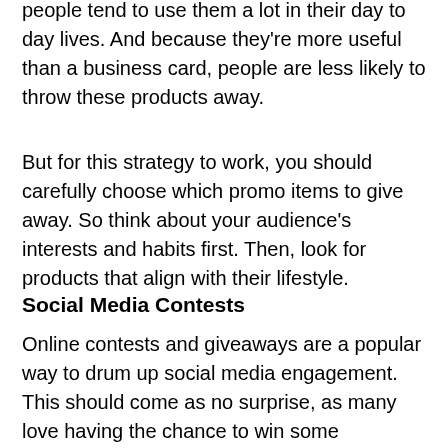Because promotional items are functionally natural, people tend to use them a lot in their day to day lives. And because they're more useful than a business card, people are less likely to throw these products away.
But for this strategy to work, you should carefully choose which promo items to give away. So think about your audience's interests and habits first. Then, look for products that align with their lifestyle.
Social Media Contests
Online contests and giveaways are a popular way to drum up social media engagement. This should come as no surprise, as many love having the chance to win some interesting prizes. And more often than not, they don't even have to spend any money to join.